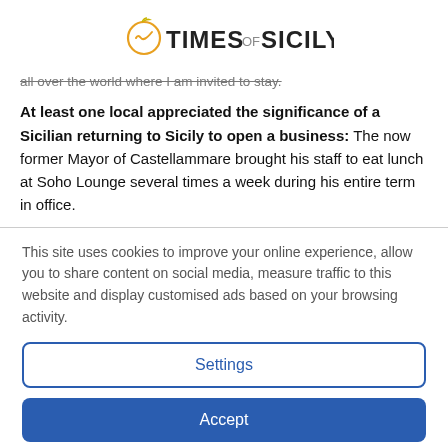[Figure (logo): Times of Sicily logo with orange citrus icon and text]
all over the world where I am invited to stay.
At least one local appreciated the significance of a Sicilian returning to Sicily to open a business: The now former Mayor of Castellammare brought his staff to eat lunch at Soho Lounge several times a week during his entire term in office.
This site uses cookies to improve your online experience, allow you to share content on social media, measure traffic to this website and display customised ads based on your browsing activity.
Settings
Accept